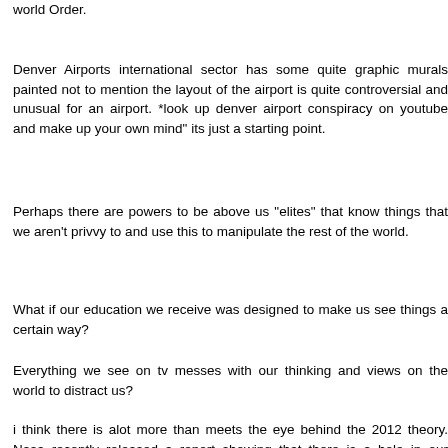world Order.
Denver Airports international sector has some quite graphic murals painted not to mention the layout of the airport is quite controversial and unusual for an airport. *look up denver airport conspiracy on youtube and make up your own mind" its just a starting point.
Perhaps there are powers to be above us "elites" that know things that we aren't privvy to and use this to manipulate the rest of the world.
What if our education we receive was designed to make us see things a certain way?
Everything we see on tv messes with our thinking and views on the world to distract us?
i think there is alot more than meets the eye behind the 2012 theory. Nasa recently released a report showing that there is a hole in our atmosphere and 2012 is expected to see the sun go through a series of solar flares etc that would cause lots of issues for earth with the hole in the